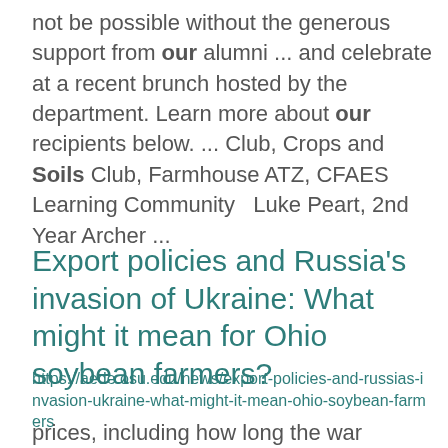not be possible without the generous support from our alumni ... and celebrate at a recent brunch hosted by the department. Learn more about our recipients below. ... Club, Crops and Soils Club, Farmhouse ATZ, CFAES Learning Community   Luke Peart, 2nd Year Archer ...
Export policies and Russia's invasion of Ukraine: What might it mean for Ohio soybean farmers?
https://aede.osu.edu/news/export-policies-and-russias-invasion-ukraine-what-might-it-mean-ohio-soybean-farmers
prices, including how long the war